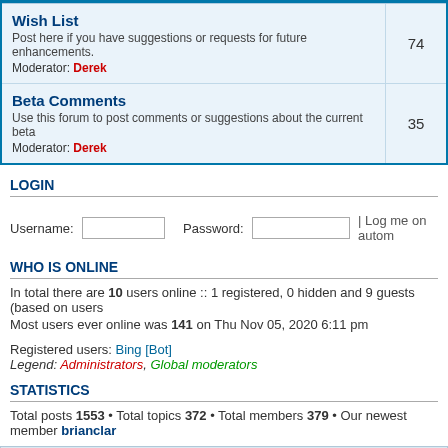| Forum | Posts |
| --- | --- |
| Wish List
Post here if you have suggestions or requests for future enhancements.
Moderator: Derek | 74 |
| Beta Comments
Use this forum to post comments or suggestions about the current beta
Moderator: Derek | 35 |
LOGIN
Username: [input] Password: [input] | Log me on autom
WHO IS ONLINE
In total there are 10 users online :: 1 registered, 0 hidden and 9 guests (based on users
Most users ever online was 141 on Thu Nov 05, 2020 6:11 pm
Registered users: Bing [Bot]
Legend: Administrators, Global moderators
STATISTICS
Total posts 1553 • Total topics 372 • Total members 379 • Our newest member brianclar
Board index | The team •
Powered by phpBB® Forum Software © phpBB Gr